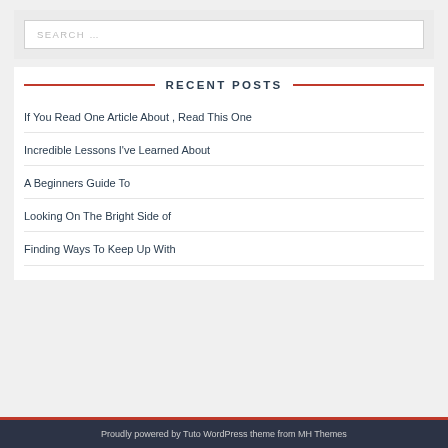SEARCH …
RECENT POSTS
If You Read One Article About , Read This One
Incredible Lessons I've Learned About
A Beginners Guide To
Looking On The Bright Side of
Finding Ways To Keep Up With
Proudly powered by Tuto WordPress theme from MH Themes